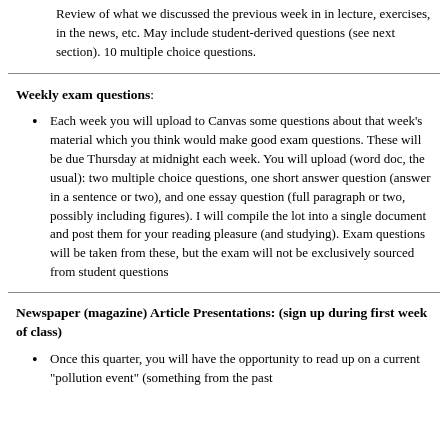Review of what we discussed the previous week in in lecture, exercises, in the news, etc. May include student-derived questions (see next section). 10 multiple choice questions.
Weekly exam questions:
Each week you will upload to Canvas some questions about that week’s material which you think would make good exam questions. These will be due Thursday at midnight each week. You will upload (word doc, the usual): two multiple choice questions, one short answer question (answer in a sentence or two), and one essay question (full paragraph or two, possibly including figures). I will compile the lot into a single document and post them for your reading pleasure (and studying). Exam questions will be taken from these, but the exam will not be exclusively sourced from student questions
Newspaper (magazine) Article Presentations: (sign up during first week of class)
Once this quarter, you will have the opportunity to read up on a current “pollution event” (something from the past